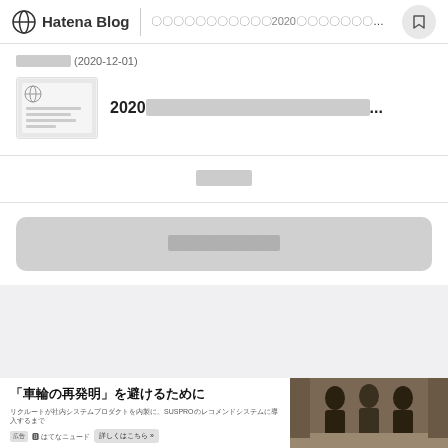Hatena Blog | 〇〇〇〇〇〇〇〇〇〇〇2020〇〇〇〇〇〇〇〇〇 100→51
〇〇〇〇〇 (2020-12-01)
2020〇〇〇〇〇〇〇〇〇〇〇〇〇〇〇〇〇〇〇...
〇〇〇〇
〇〇〇〇〇〇〇〇
[Figure (screenshot): Advertisement banner: 「車輪の再発明」を避けるために with photo of people]
「車輪の再発明」を避けるために